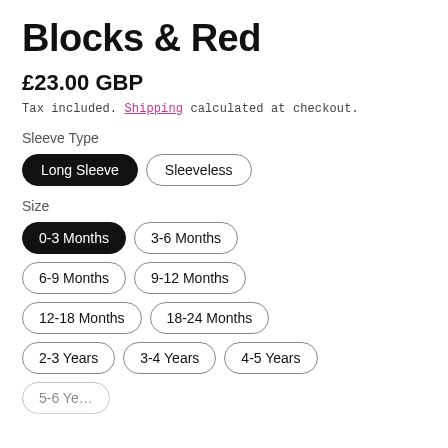Blocks & Red
£23.00 GBP
Tax included. Shipping calculated at checkout.
Sleeve Type
Long Sleeve (selected), Sleeveless
Size
0-3 Months (selected), 3-6 Months, 6-9 Months, 9-12 Months, 12-18 Months, 18-24 Months, 2-3 Years, 3-4 Years, 4-5 Years